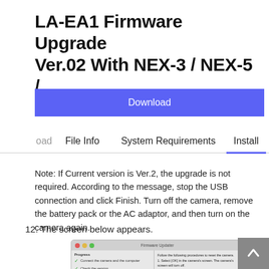LA-EA1 Firmware Upgrade Ver.02 With NEX-3 / NEX-5 /...
Download
oad   File Info   System Requirements   Install
Note: If Current version is Ver.2, the upgrade is not required. According to the message, stop the USB connection and click Finish. Turn off the camera, remove the battery pack or the AC adaptor, and then turn on the camera again.
12. The screen below appears.
[Figure (screenshot): Firmware Updater dialog box showing progress checklist on left (Connect the camera and the computer, Check the version) and instructions on right (Follow the following procedures to reset the camera. 1. Select [OK] in the camera's screen. The camera's screen will turn off. 2. Click the [Next] button.)]